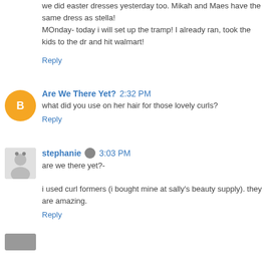we did easter dresses yesterday too. Mikah and Maes have the same dress as stella!
MOnday- today i will set up the tramp! I already ran, took the kids to the dr and hit walmart!
Reply
Are We There Yet? 2:32 PM
what did you use on her hair for those lovely curls?
Reply
stephanie 3:03 PM
are we there yet?-

i used curl formers (i bought mine at sally's beauty supply). they are amazing.
Reply